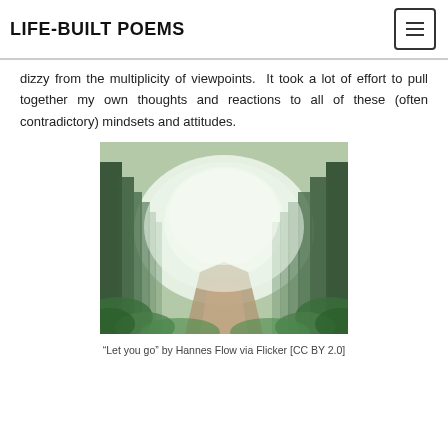LIFE-BUILT POEMS
dizzy from the multiplicity of viewpoints.  It took a lot of effort to pull together my own thoughts and reactions to all of these (often contradictory) mindsets and attitudes.
[Figure (photo): A misty forest with tall trees and a dirt path winding through lush green undergrowth, foggy atmosphere.]
“Let you go” by Hannes Flow via Flicker [CC BY 2.0]